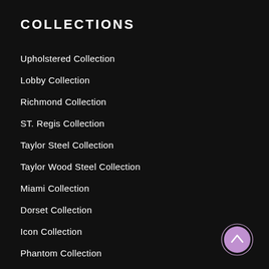COLLECTIONS
Upholstered Collection
Lobby Collection
Richmond Collection
ST. Regis Collection
Taylor Steel Collection
Taylor Wood Steel Collection
Miami Collection
Dorset Collection
Icon Collection
Phantom Collection
Setai Collection
[Figure (illustration): Circular back-to-top button with lavender/purple fill and upward chevron arrow, with a lighter circular border ring]